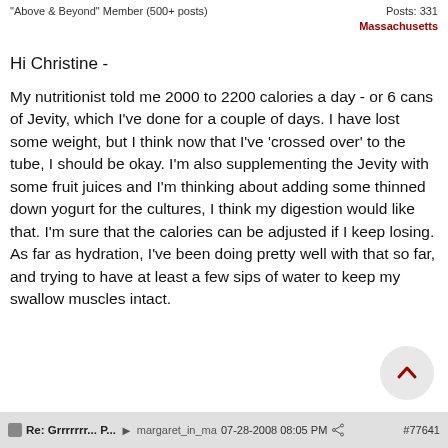"Above & Beyond" Member (500+ posts) | Posts: 331 | Massachusetts
Hi Christine -
My nutritionist told me 2000 to 2200 calories a day - or 6 cans of Jevity, which I've done for a couple of days. I have lost some weight, but I think now that I've 'crossed over' to the tube, I should be okay. I'm also supplementing the Jevity with some fruit juices and I'm thinking about adding some thinned down yogurt for the cultures, I think my digestion would like that. I'm sure that the calories can be adjusted if I keep losing. As far as hydration, I've been doing pretty well with that so far, and trying to have at least a few sips of water to keep my swallow muscles intact.
Re: Grrrrrrr... P... margaret_in_ma 07-28-2008 08:05 PM #77641